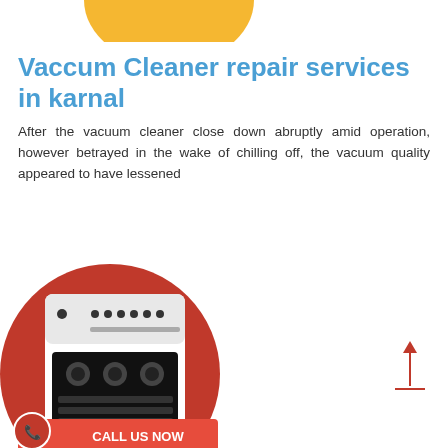[Figure (illustration): Partial yellow circle arc at top center, logo element]
Vaccum Cleaner repair services in karnal
After the vacuum cleaner close down abruptly amid operation, however betrayed in the wake of chilling off, the vacuum quality appeared to have lessened
[Figure (illustration): Blue rectangular Book button]
[Figure (illustration): Red circle with oven/appliance illustration and CALL US NOW banner with phone icon at bottom left]
[Figure (illustration): Red scroll-to-top arrow with underline at bottom right]